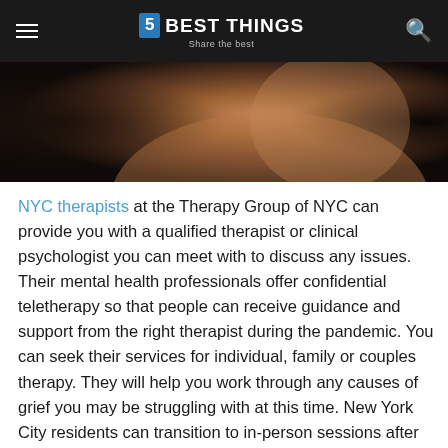5 BEST THINGS — Share the best
[Figure (photo): Close-up photo of a person's neck/shoulder area in dim, warm-toned lighting against a dark background]
NYC therapists at the Therapy Group of NYC can provide you with a qualified therapist or clinical psychologist you can meet with to discuss any issues. Their mental health professionals offer confidential teletherapy so that people can receive guidance and support from the right therapist during the pandemic. You can seek their services for individual, family or couples therapy. They will help you work through any causes of grief you may be struggling with at this time. New York City residents can transition to in-person sessions after the lockdown.